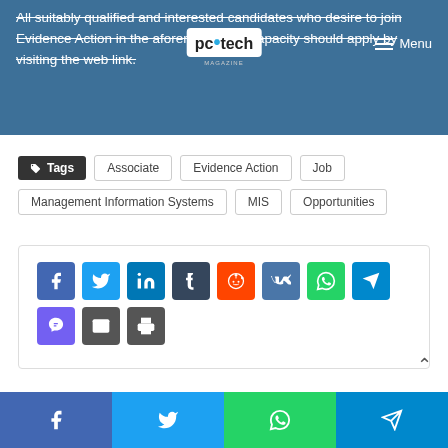All suitably qualified and interested candidates who desire to join Evidence Action in the aforementioned capacity should apply by visiting the web link.
Tags  Associate  Evidence Action  Job  Management Information Systems  MIS  Opportunities
[Figure (screenshot): Social share buttons grid: Facebook, Twitter, LinkedIn, Tumblr, Reddit, VK, WhatsApp, Telegram (row 1); Viber, Email, Print (row 2)]
Social share footer bar: Facebook, Twitter, WhatsApp, Telegram